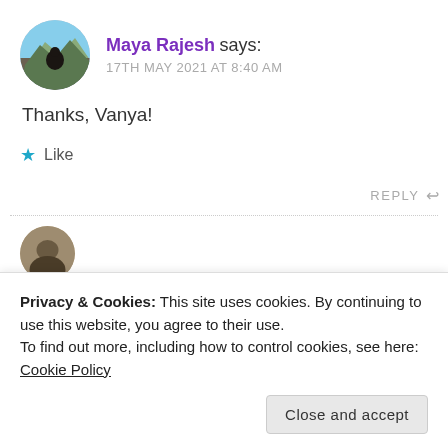[Figure (photo): Circular avatar of Maya Rajesh showing a silhouette of a person outdoors with mountains in background]
Maya Rajesh says:
17TH MAY 2021 AT 8:40 AM
Thanks, Vanya!
★ Like
REPLY ↩
[Figure (photo): Circular avatar of second commenter, partially visible]
Privacy & Cookies: This site uses cookies. By continuing to use this website, you agree to their use.
To find out more, including how to control cookies, see here: Cookie Policy
Close and accept
way 🌸🌸🌸